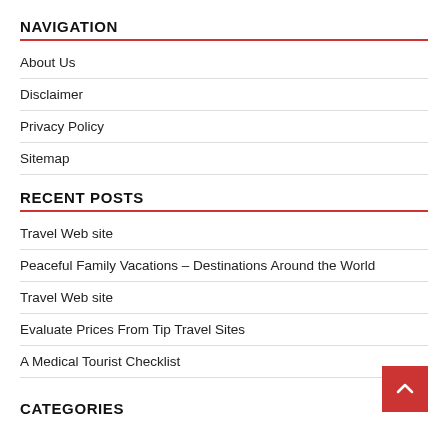NAVIGATION
About Us
Disclaimer
Privacy Policy
Sitemap
RECENT POSTS
Travel Web site
Peaceful Family Vacations – Destinations Around the World
Travel Web site
Evaluate Prices From Tip Travel Sites
A Medical Tourist Checklist
CATEGORIES